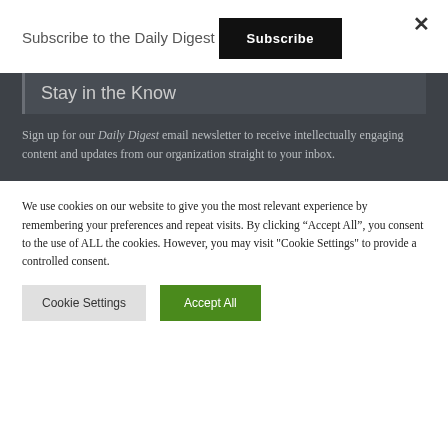Subscribe to the Daily Digest
Subscribe
Stay in the Know
Sign up for our Daily Digest email newsletter to receive intellectually engaging content and updates from our organization straight to your inbox.
We use cookies on our website to give you the most relevant experience by remembering your preferences and repeat visits. By clicking “Accept All”, you consent to the use of ALL the cookies. However, you may visit "Cookie Settings" to provide a controlled consent.
Cookie Settings
Accept All